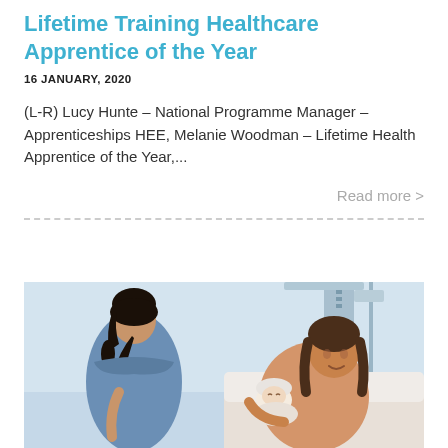Lifetime Training Healthcare Apprentice of the Year
16 JANUARY, 2020
(L-R) Lucy Hunte – National Programme Manager – Apprenticeships HEE, Melanie Woodman – Lifetime Health Apprentice of the Year,...
Read more >
[Figure (photo): A nurse in blue scrubs attending to a mother holding a newborn baby in a hospital room setting.]